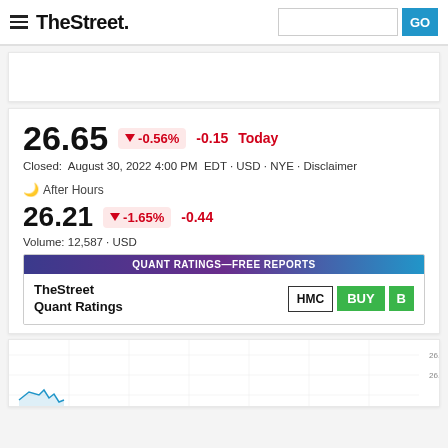TheStreet
26.65  -0.56%  -0.15  Today
Closed:  August 30, 2022 4:00 PM  EDT · USD · NYE · Disclaimer
After Hours
26.21  -1.65%  -0.44
Volume: 12,587 · USD
|  | Ticker | Rating | Grade |
| --- | --- | --- | --- |
| TheStreet Quant Ratings | HMC | BUY | B |
[Figure (continuous-plot): Stock price chart preview showing price around 26.90-26.95 range with candlestick or area chart visualization]